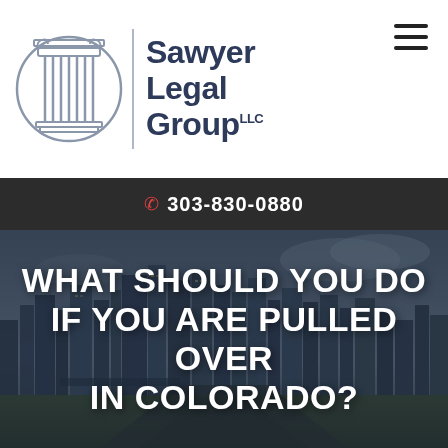[Figure (logo): Sawyer Legal Group LLC logo with a Greek column inside a circle and firm name text]
303-830-0880
WHAT SHOULD YOU DO IF YOU ARE PULLED OVER IN COLORADO?